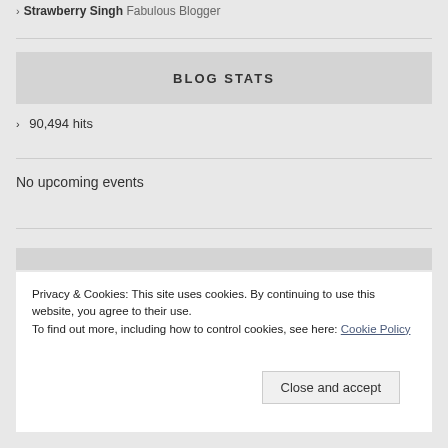› Strawberry Singh Fabulous Blogger
BLOG STATS
› 90,494 hits
No upcoming events
Privacy & Cookies: This site uses cookies. By continuing to use this website, you agree to their use.
To find out more, including how to control cookies, see here: Cookie Policy
Close and accept